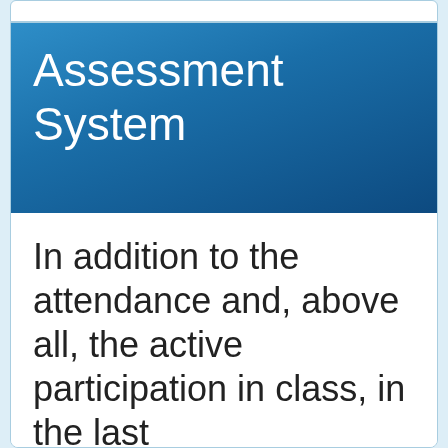Assessment System
In addition to the attendance and, above all, the active participation in class, in the last